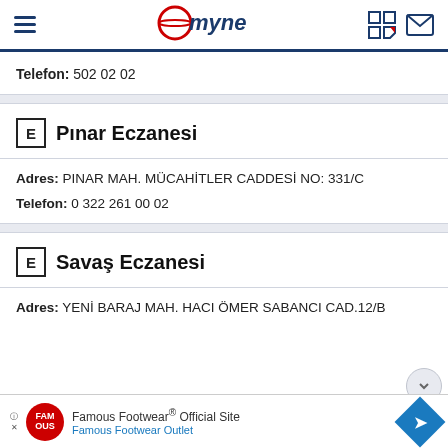mynet
Telefon: 502 02 02
E Pınar Eczanesi
Adres: PINAR MAH. MÜCAHİTLER CADDESİ NO: 331/C
Telefon: 0 322 261 00 02
E Savaş Eczanesi
Adres: YENİ BARAJ MAH. HACI ÖMER SABANCI CAD.12/B
[Figure (other): Famous Footwear advertisement banner with red circular logo and blue diamond arrow]